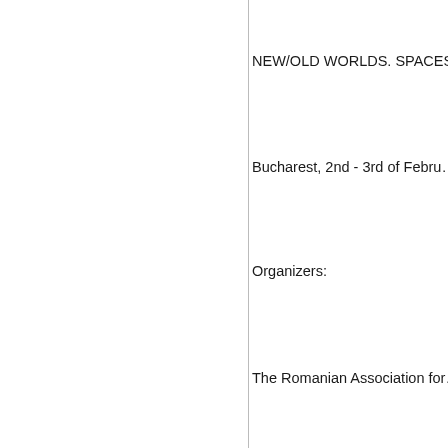NEW/OLD WORLDS. SPACES O…
Bucharest, 2nd - 3rd of Febru…
Organizers:
The Romanian Association for…
The Romanian - U.S. Fulbright…
The concept of the New World…
explorations, contains a parti…
shape Euro-American percept…
an Old World opposing it - con… and